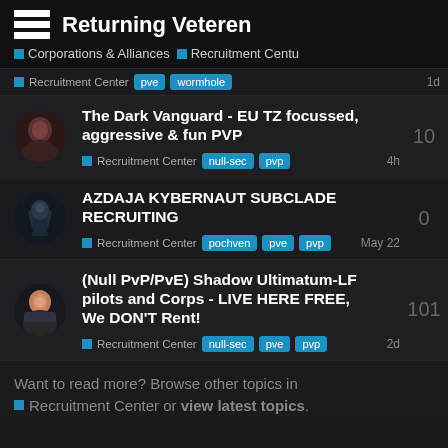Returning Veteren
Corporations & Alliances > Recruitment Center
Recruitment Center | pve | wormhole | 1d
The Dark Vanguard - EU TZ focussed, aggressive & fun PVP | Recruitment Center | null-sec | pvp | 4h | replies: 10
AZDAJA KYBERNAUT SUBCLADE RECRUITING | Recruitment Center | pochven | pve | pvp | May 22 | replies: 0
(Null PvP/PvE) Shadow Ultimatum-LF pilots and Corps - LIVE HERE FREE, We DON'T Rent! | Recruitment Center | null-sec | pve | pvp | 2d | replies: 101
Want to read more? Browse other topics in Recruitment Center or view latest topics.